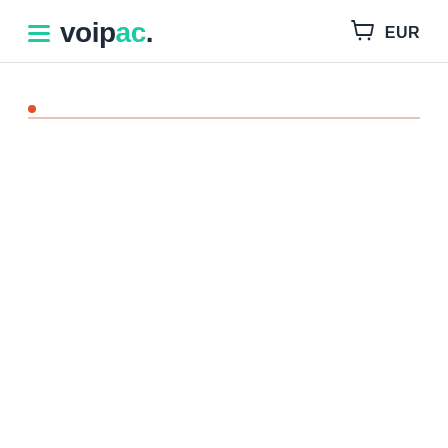voipac. EUR
[Figure (screenshot): Voipac website header with hamburger menu icon, voipac. logo in teal and dark colors, shopping basket icon, and EUR currency label. Below header is a horizontal divider and a search bar with a pink/salmon underline.]